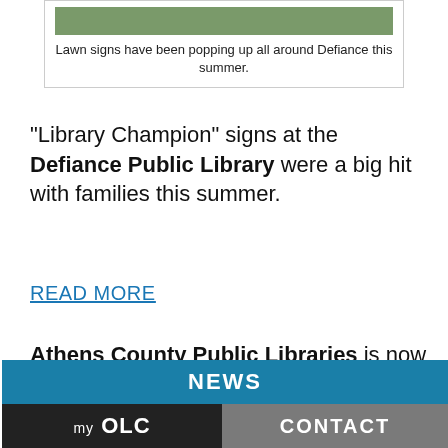Lawn signs have been popping up all around Defiance this summer.
“Library Champion” signs at the Defiance Public Library were a big hit with families this summer.
READ MORE
Athens County Public Libraries is now loaning Fitness Kits. Each kit contains a piece of equipment and a DVD or pamphlet.
READ MORE
[Figure (screenshot): Navigation bar with NEWS button (teal), myOLC button (dark/black with arrow), and CONTACT button (gray)]